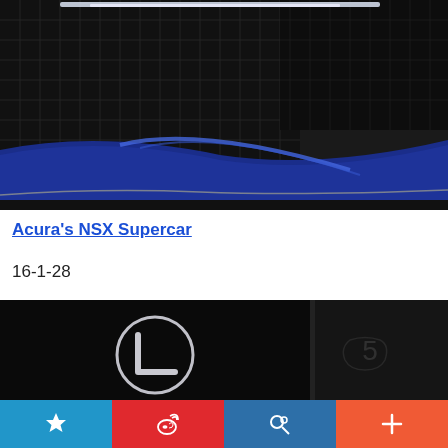[Figure (photo): Close-up front view of Acura NSX supercar showing dark mesh grille and blue metallic body panel at bottom]
Acura's NSX Supercar
16-1-28
[Figure (photo): Dark image of Acura/Lexus logo badge on black background, with a second dark panel on the right]
[Figure (screenshot): Bottom navigation bar with four buttons: star/favorite (blue), Weibo share (red), search (navy), add/plus (orange-red)]